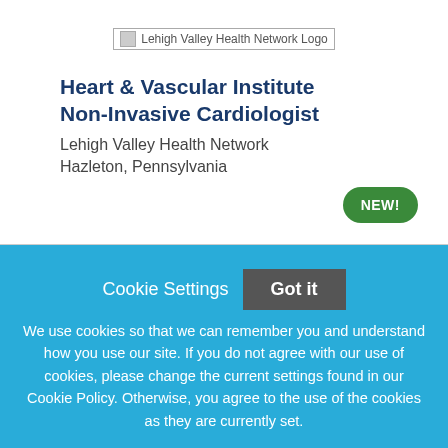[Figure (logo): Lehigh Valley Health Network Logo]
Heart & Vascular Institute Non-Invasive Cardiologist
Lehigh Valley Health Network
Hazleton, Pennsylvania
NEW!
Cookie Settings  Got it
We use cookies so that we can remember you and understand how you use our site. If you do not agree with our use of cookies, please change the current settings found in our Cookie Policy. Otherwise, you agree to the use of the cookies as they are currently set.